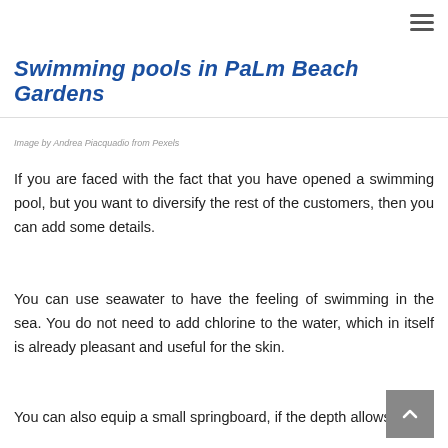≡
Swimming pools in Palm Beach Gardens
Image by Andrea Piacquadio from Pexels
If you are faced with the fact that you have opened a swimming pool, but you want to diversify the rest of the customers, then you can add some details.
You can use seawater to have the feeling of swimming in the sea. You do not need to add chlorine to the water, which in itself is already pleasant and useful for the skin.
You can also equip a small springboard, if the depth allows.